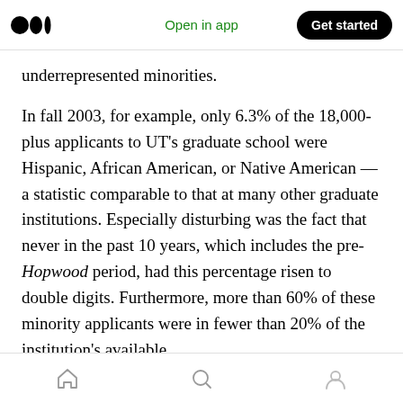Open in app | Get started
underrepresented minorities.
In fall 2003, for example, only 6.3% of the 18,000-plus applicants to UT's graduate school were Hispanic, African American, or Native American — a statistic comparable to that at many other graduate institutions. Especially disturbing was the fact that never in the past 10 years, which includes the pre-Hopwood period, had this percentage risen to double digits. Furthermore, more than 60% of these minority applicants were in fewer than 20% of the institution's available
Home | Search | Profile